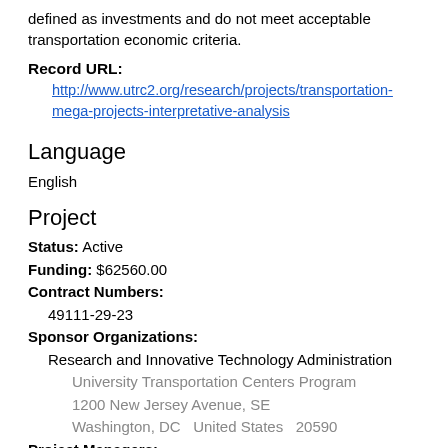defined as investments and do not meet acceptable transportation economic criteria.
Record URL: http://www.utrc2.org/research/projects/transportation-mega-projects-interpretative-analysis
Language
English
Project
Status: Active
Funding: $62560.00
Contract Numbers:
49111-29-23
Sponsor Organizations:
Research and Innovative Technology Administration
University Transportation Centers Program
1200 New Jersey Avenue, SE
Washington, DC  United States  20590
Project Managers:
Mooney, Deborah